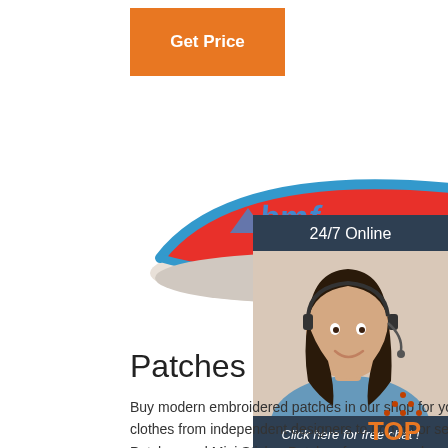[Figure (other): Orange 'Get Price' button]
[Figure (photo): Two red and blue BMF branded sun visor caps shown from front and side angles]
[Figure (photo): Sidebar with 24/7 Online text, customer service representative with headset, 'Click here for free chat!' text, and orange QUOTATION button on dark navy background]
Patches
Buy modern embroidered patches in our shop for your jean jacket, backpack, and clothes from independent designers to iron on or sew on. View our Large Back Patches and Mini Sticker Patches for more cool ways to patch up your
[Figure (other): TOP navigation button with orange dots and text]